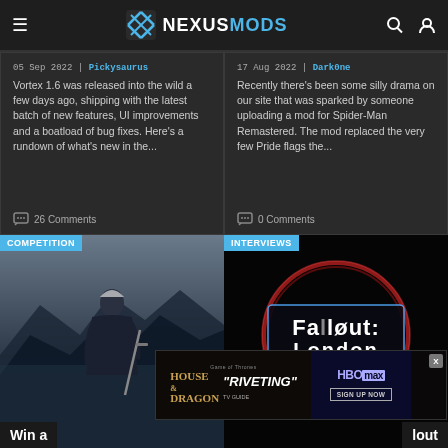NEXUSMODS
05 Sep 2022 | Pickysaurus
Vortex 1.6 was released into the wild a few days ago, shipping with the latest batch of new features, UI improvements and a boatload of bug fixes. Here's a rundown of what's new in the...
26 Comments
17 Aug 2022 | DarkOne
Recently there's been some silly drama on our site that was sparked by someone uploading a mod for Spider-Man Remastered. The mod replaced the very few Pride flags the...
0 Comments
[Figure (photo): COMPETITION tag over a fantasy warrior character (Witcher) in a foggy mountainous environment]
[Figure (photo): INTERVIEWS tag over a Fallout: London logo with red neon ring glow on dark background]
Win a
lout
[Figure (other): HBO Max advertisement banner for House of the Dragon with 'RIVETING' TV quote and Sign Up Now button. X close button visible.]